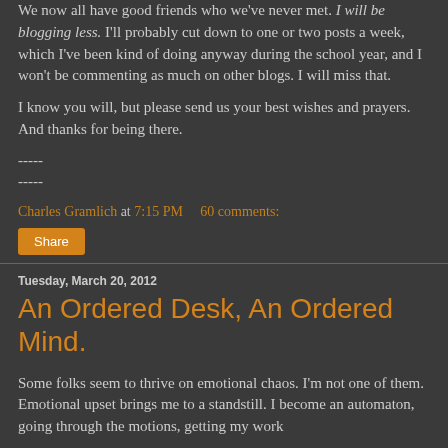We now all have good friends who we've never met. I will be blogging less. I'll probably cut down to one or two posts a week, which I've been kind of doing anyway during the school year, and I won't be commenting as much on other blogs. I will miss that.
I know you will, but please send us your best wishes and prayers. And thanks for being there.
-----
-----
Charles Gramlich at 7:15 PM    60 comments:
Share
Tuesday, March 20, 2012
An Ordered Desk, An Ordered Mind.
Some folks seem to thrive on emotional chaos. I'm not one of them. Emotional upset brings me to a standstill. I become an automaton, going through the motions, getting my work